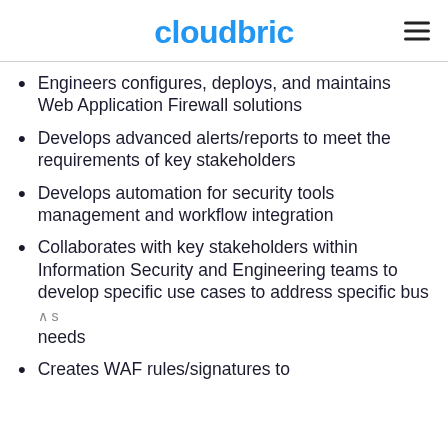cloudbric
Engineers configures, deploys, and maintains Web Application Firewall solutions
Develops advanced alerts/reports to meet the requirements of key stakeholders
Develops automation for security tools management and workflow integration
Collaborates with key stakeholders within Information Security and Engineering teams to develop specific use cases to address specific business needs
Creates WAF rules/signatures to